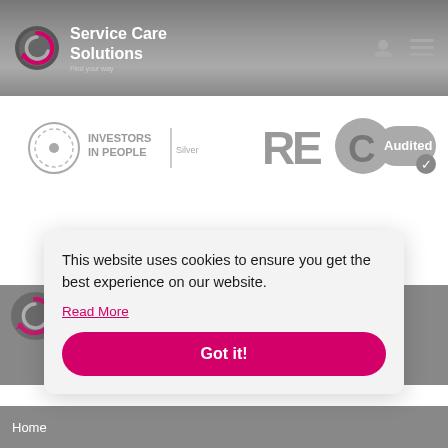[Figure (logo): Service Care Solutions logo with circular icon and text 'Find your way']
[Figure (logo): Investors in People Silver badge (greyscale)]
[Figure (logo): REC Audited badge (greyscale)]
This website uses cookies to ensure you get the best experience on our website.
Read More
Got it!
Home